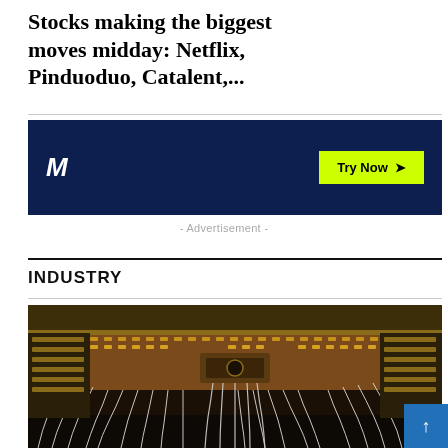Stocks making the biggest moves midday: Netflix, Pinduoduo, Catalent,...
[Figure (infographic): Advertisement banner with dark navy background, large M logo on the left, and a yellow-green 'Try Now >' button on the right]
- Advertisement -
INDUSTRY
[Figure (photo): Close-up photograph of quantum computing hardware showing intricate gold and copper circuit components with white cable wires cascading down, illuminated by warm golden light against a dark background. Blue 'INDUSTRY' tag overlaid in top-left corner.]